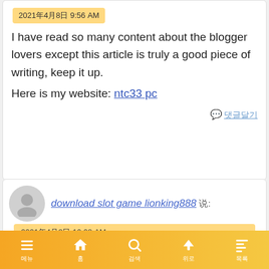2021年4月8日 9:56 AM
I have read so many content about the blogger lovers except this article is truly a good piece of writing, keep it up.
Here is my website: ntc33 pc
댓글달기
[Figure (photo): User avatar placeholder - grey circle with person silhouette]
download slot game lionking888 说:
2021年4月8日 10:08 AM
Hello to every one, it's truly a pleasant for me to go to see this web site, it consists of useful Information.
메뉴 홈 검색 위로 목록